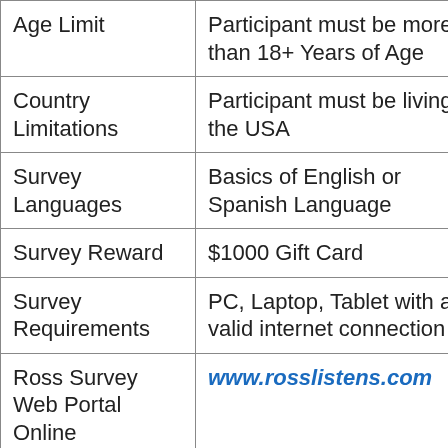|  |  |
| --- | --- |
| Age Limit | Participant must be more than 18+ Years of Age |
| Country Limitations | Participant must be living in the USA |
| Survey Languages | Basics of English or Spanish Language |
| Survey Reward | $1000 Gift Card |
| Survey Requirements | PC, Laptop, Tablet with a valid internet connection |
| Ross Survey Web Portal Online | www.rosslistens.com |